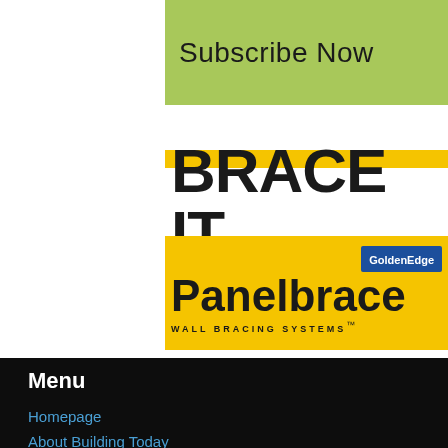Subscribe Now
[Figure (logo): Brace It Panelbrace Wall Bracing Systems logo with GoldenEdge badge on yellow background]
Menu
Homepage
About Building Today
Competitions
Issues